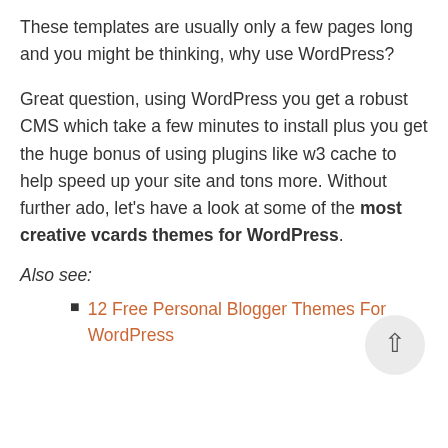These templates are usually only a few pages long and you might be thinking, why use WordPress?
Great question, using WordPress you get a robust CMS which take a few minutes to install plus you get the huge bonus of using plugins like w3 cache to help speed up your site and tons more. Without further ado, let's have a look at some of the most creative vcards themes for WordPress.
Also see:
12 Free Personal Blogger Themes For WordPress